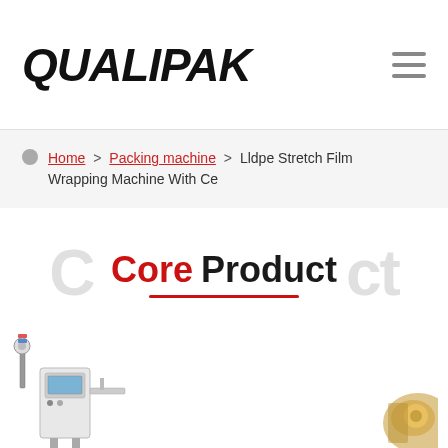QUALIPAK
Home > Packing machine > Lldpe Stretch Film Wrapping Machine With Ce
Core Product
[Figure (photo): Packaging machine product image on left side, partial view of another machine on right side]